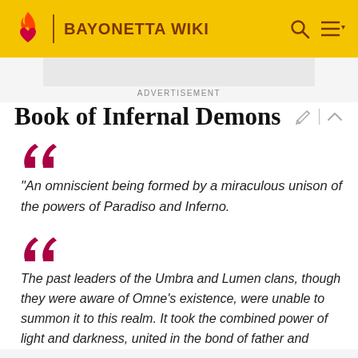BAYONETTA WIKI
[Figure (other): Advertisement placeholder banner (grey rectangle)]
ADVERTISEMENT
Book of Infernal Demons
"An omniscient being formed by a miraculous unison of the powers of Paradiso and Inferno.
The past leaders of the Umbra and Lumen clans, though they were aware of Omne's existence, were unable to summon it to this realm. It took the combined power of light and darkness, united in the bond of father and